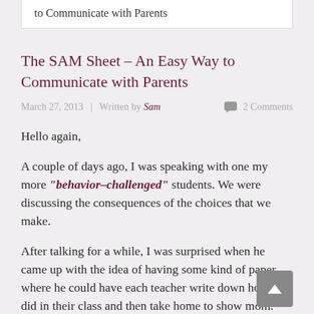to Communicate with Parents
The SAM Sheet – An Easy Way to Communicate with Parents
March 27, 2013  |  Written by Sam  🗨 2 Comments
Hello again,
A couple of days ago, I was speaking with one my more "behavior-challenged" students. We were discussing the consequences of the choices that we make.
After talking for a while, I was surprised when he came up with the idea of having some kind of paper where he could have each teacher write down how he did in their class and then take home to show mom.
I was surprised, because as I told him, having